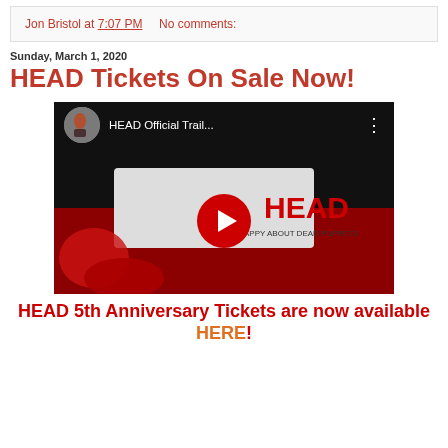Jon Bristol at 7:07 PM    No comments:
Sunday, March 1, 2020
HEAD Tickets On Sale Now!
[Figure (screenshot): YouTube video embed showing HEAD Official Trail... video with puppet characters and red HEAD logo, with a red play button in the center.]
HEAD 5th Anniversary Tickets are now available HERE!